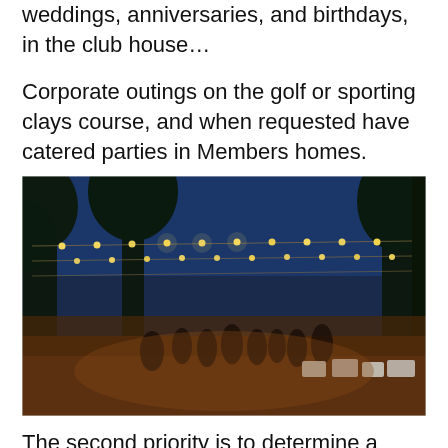weddings, anniversaries, and birthdays, in the club house…
Corporate outings on the golf or sporting clays course, and when requested have catered parties in Members homes.
[Figure (photo): Outdoor nighttime party with string lights hanging between trees, people gathered around white chairs and tables on dirt ground under a twilight blue sky.]
The second priority is to determine a menu and theme if necessary. Most venues give you a fixed set of menu items to choose from. Our team listens to your needs and then creates menu